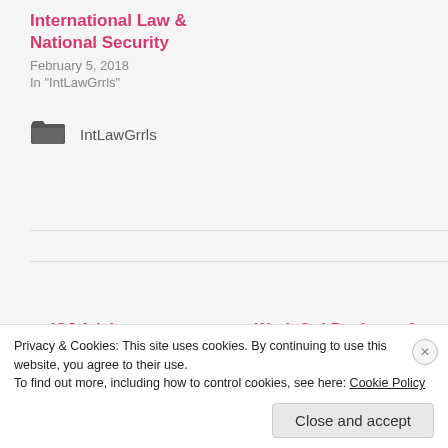International Law & National Security
February 5, 2018
In "IntLawGrrls"
IntLawGrrls
← ICJ Advisory Opinion in the Chagos Archipelago
Work On! Business & Human Rights Summer
Privacy & Cookies: This site uses cookies. By continuing to use this website, you agree to their use.
To find out more, including how to control cookies, see here: Cookie Policy
Close and accept